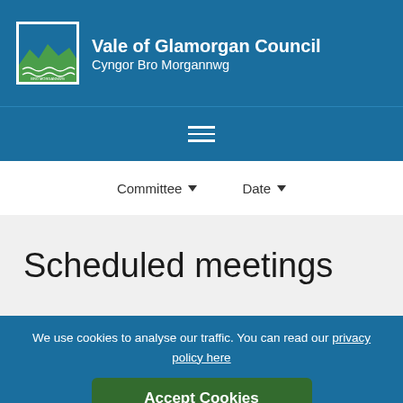Vale of Glamorgan Council — Cyngor Bro Morgannwg
[Figure (logo): Vale of Glamorgan Council logo with stylized green hills and waves on blue background]
Committee ▼   Date ▼
Scheduled meetings
We use cookies to analyse our traffic. You can read our privacy policy here
Accept Cookies